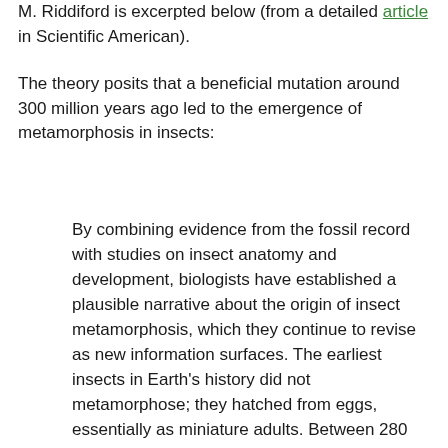M. Riddiford is excerpted below (from a detailed article in Scientific American).
The theory posits that a beneficial mutation around 300 million years ago led to the emergence of metamorphosis in insects:
By combining evidence from the fossil record with studies on insect anatomy and development, biologists have established a plausible narrative about the origin of insect metamorphosis, which they continue to revise as new information surfaces. The earliest insects in Earth's history did not metamorphose; they hatched from eggs, essentially as miniature adults. Between 280 million and 300 million years ago, however, some insects began to mature a little differently—they hatched in forms that neither looked nor behaved like their adult versions. This shift proved remarkably beneficial: young and old insects were no longer competing for the same resources.